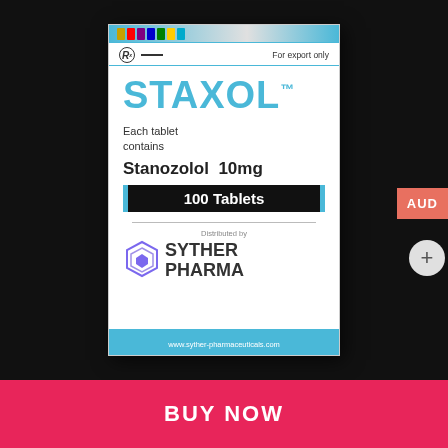[Figure (photo): Product photo of Staxol (Stanozolol 10mg, 100 Tablets) pharmaceutical box by Syther Pharma on a dark/black background. Box shows brand name STAXOL in blue, 'Each tablet contains', 'Stanozolol 10mg', '100 Tablets' in black band with blue border, Syther Pharma logo and website www.syther-pharmaceuticals.com. AUD label tab on right edge and plus button visible.]
BUY NOW